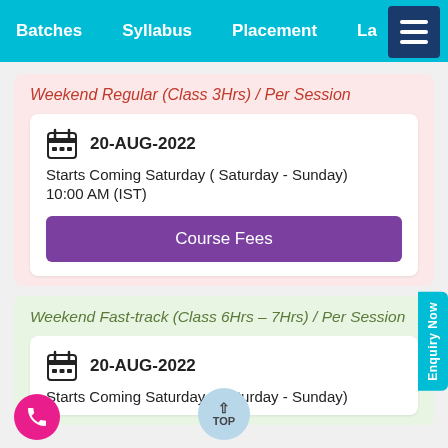Batches  Syllabus  Placement  La...
Weekend Regular (Class 3Hrs) / Per Session
20-AUG-2022
Starts Coming Saturday ( Saturday - Sunday)
10:00 AM (IST)
Course Fees
Weekend Fast-track (Class 6Hrs – 7Hrs) / Per Session
20-AUG-2022
Starts Coming Saturday ( Saturday - Sunday)